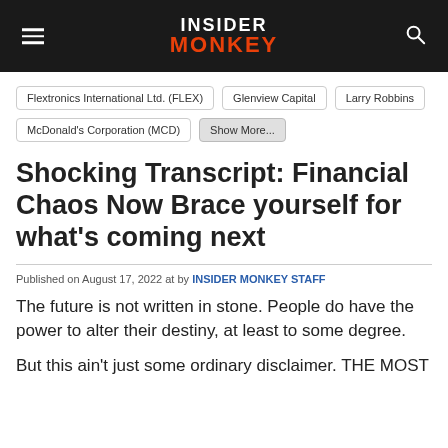INSIDER MONKEY
Flextronics International Ltd. (FLEX)
Glenview Capital
Larry Robbins
McDonald's Corporation (MCD)
Show More...
Shocking Transcript: Financial Chaos Now Brace yourself for what's coming next
Published on August 17, 2022 at by INSIDER MONKEY STAFF
The future is not written in stone. People do have the power to alter their destiny, at least to some degree.